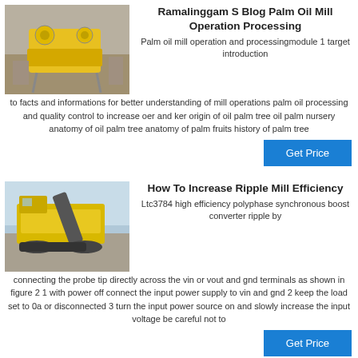[Figure (photo): Yellow industrial crusher/mill machine outdoors with stone wall background]
Ramalinggam S Blog Palm Oil Mill Operation Processing
Palm oil mill operation and processingmodule 1 target introduction to facts and informations for better understanding of mill operations palm oil processing and quality control to increase oer and ker origin of oil palm tree oil palm nursery anatomy of oil palm tree anatomy of palm fruits history of palm tree
Get Price
[Figure (photo): Large yellow industrial mobile crusher/screener on gravel pile outdoors]
How To Increase Ripple Mill Efficiency
Ltc3784 high efficiency polyphase synchronous boost converter ripple by connecting the probe tip directly across the vin or vout and gnd terminals as shown in figure 2 1 with power off connect the input power supply to vin and gnd 2 keep the load set to 0a or disconnected 3 turn the input power source on and slowly increase the input voltage be careful not to
Get Price